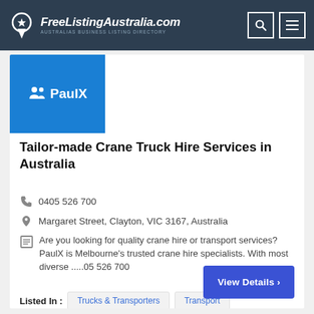FreeListingAustralia.com — AUSTRALIAS BUSINESS LISTING DIRECTORY
[Figure (logo): PaulX company logo: white icon of two people and text PaulX on blue background]
Tailor-made Crane Truck Hire Services in Australia
0405 526 700
Margaret Street, Clayton, VIC 3167, Australia
Are you looking for quality crane hire or transport services? PaulX is Melbourne's trusted crane hire specialists. With most diverse .....05 526 700
Listed In : Trucks & Transporters  Transport
View Details ›